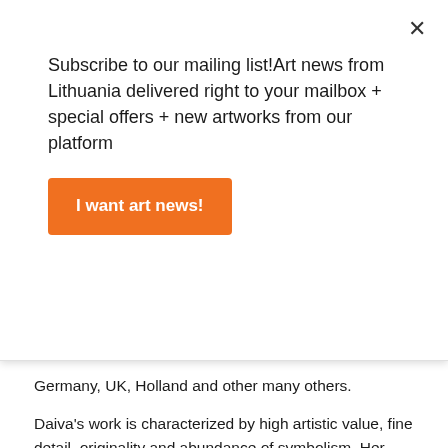Subscribe to our mailing list!Art news from Lithuania delivered right to your mailbox + special offers + new artworks from our platform
I want art news!
Germany, UK, Holland and other many others.
Daiva’s work is characterized by high artistic value, fine detail, originality and abundance of symbolism. Her etching prints are full of cultural references and Baltic folklore elements. Her pieces reflect the influence of folk tradition and express the appreciation of her Lithuanian origins while her paintings are an amalgam of surrealist portraiture and historic allure tied together with meticulously planted symbolic elements. Even though Daiva is a versatile artist and not a stranger to digital art, she most commonly works with exclusive old master’s